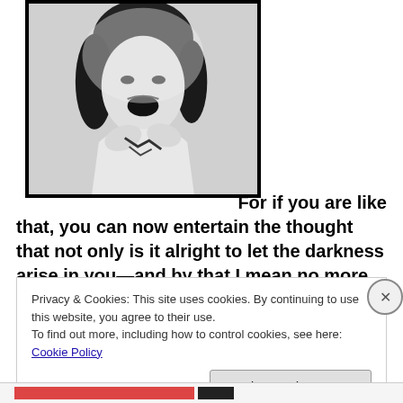[Figure (photo): Black and white photograph of a person with curly dark hair, mouth open, wearing a light-colored outfit, framed with a black border and green inner border]
For if you are like that, you can now entertain the thought that not only is it alright to let the darkness arise in you—and by that I mean no more than allow yourself to feel these
Privacy & Cookies: This site uses cookies. By continuing to use this website, you agree to their use.
To find out more, including how to control cookies, see here: Cookie Policy
Close and accept